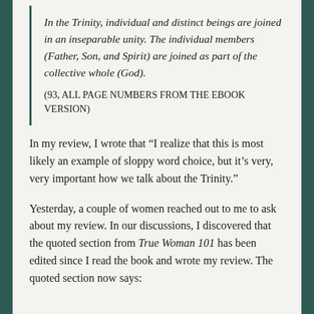In the Trinity, individual and distinct beings are joined in an inseparable unity. The individual members (Father, Son, and Spirit) are joined as part of the collective whole (God). (93, ALL PAGE NUMBERS FROM THE EBOOK VERSION)
In my review, I wrote that “I realize that this is most likely an example of sloppy word choice, but it’s very, very important how we talk about the Trinity.”
Yesterday, a couple of women reached out to me to ask about my review. In our discussions, I discovered that the quoted section from True Woman 101 has been edited since I read the book and wrote my review. The quoted section now says: